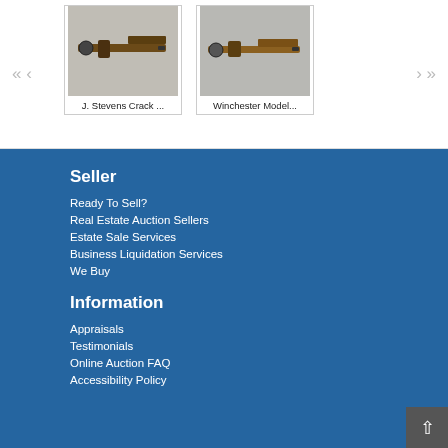[Figure (photo): J. Stevens Crack Shot rifle photo in carousel]
J. Stevens Crack ...
[Figure (photo): Winchester Model rifle photo in carousel]
Winchester Model...
Seller
Ready To Sell?
Real Estate Auction Sellers
Estate Sale Services
Business Liquidation Services
We Buy
Information
Appraisals
Testimonials
Online Auction FAQ
Accessibility Policy